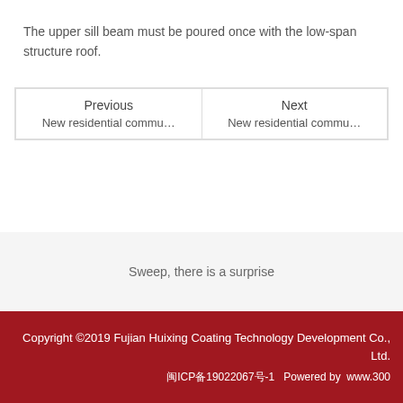The upper sill beam must be poured once with the low-span structure roof.
| Previous | Next |
| --- | --- |
| New residential commu… | New residential commu… |
Sweep, there is a surprise
Copyright ©2019 Fujian Huixing Coating Technology Development Co., Ltd. 闽ICP备19022067号-1  Powered by  www.300